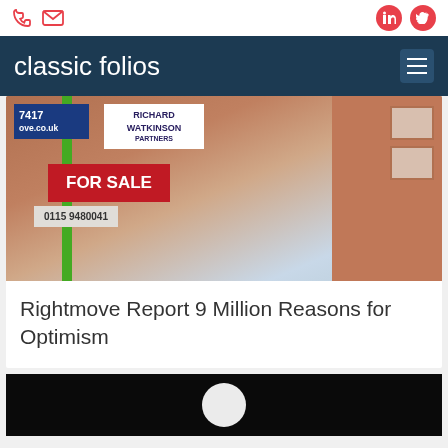classic folios — website header with phone, email, LinkedIn, Twitter icons
[Figure (photo): Real estate For Sale signs including Rightmove and Richard Watkinson & Partners boards on a street]
Rightmove Report 9 Million Reasons for Optimism
[Figure (photo): Partial view of second article card with dark background and white circular element]